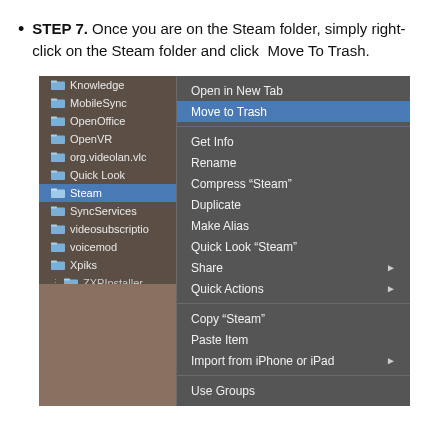STEP 7. Once you are on the Steam folder, simply right-click on the Steam folder and click  Move To Trash.
[Figure (screenshot): macOS Finder context menu screenshot showing a file browser with folders listed (Knowledge, MobileSync, OpenOffice, OpenVR, org.videolan.vlc, Quick Look, Steam (selected/highlighted), SyncServices, videosubscriptio, voicemod, Xpiks, ZXPInstaller). A right-click context menu is open to the right showing options: Open in New Tab, Move to Trash (highlighted in blue), Get Info, Rename, Compress Steam, Duplicate, Make Alias, Quick Look Steam, Share (with arrow), Quick Actions (with arrow), Copy Steam, Paste Item, Import from iPhone or iPad (with arrow), Use Groups, Sort By (with arrow), Show View Options, colored tag dots (red, orange, yellow, green, blue, purple, grey), Tags...]